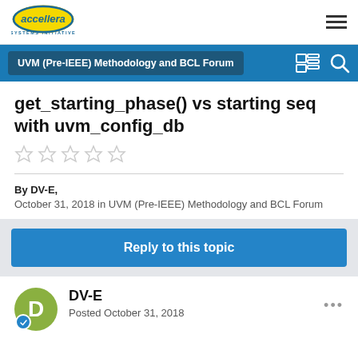[Figure (logo): Accellera Systems Initiative logo — oval shape with 'accellera' text and 'SYSTEMS INITIATIVE' below]
UVM (Pre-IEEE) Methodology and BCL Forum
get_starting_phase() vs starting seq with uvm_config_db
By DV-E,
October 31, 2018 in UVM (Pre-IEEE) Methodology and BCL Forum
Reply to this topic
DV-E
Posted October 31, 2018